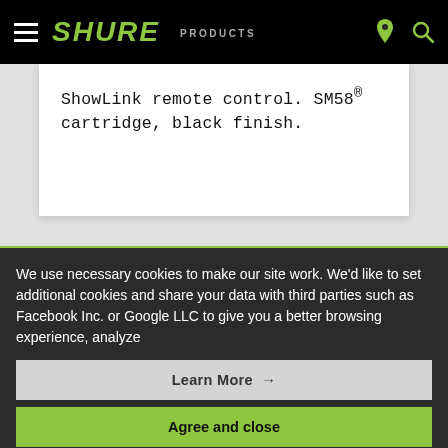SHURE  PRODUCTS
ShowLink remote control. SM58® cartridge, black finish.
We use necessary cookies to make our site work. We'd like to set additional cookies and share your data with third parties such as Facebook Inc. or Google LLC to give you a better browsing experience, analyze
Learn More →
Agree and close